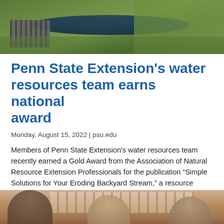[Figure (photo): Aerial or ground-level photo of a stream running through grassy banks with a drainage pipe visible]
Penn State Extension's water resources team earns national award
Monday, August 15, 2022 | psu.edu
Members of Penn State Extension's water resources team recently earned a Gold Award from the Association of Natural Resource Extension Professionals for the publication “Simple Solutions for Your Eroding Backyard Stream,” a resource developed in conjunction with Extension's Backyard Stream Repair Program.
[Figure (photo): Group photo of people standing outdoors in front of a building with decorative white railings/windows]